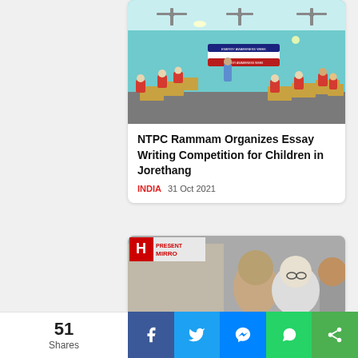[Figure (photo): Classroom scene with students sitting at red chairs and desks taking an exam or writing competition, with a banner on the wall and a teacher standing, inside a room with teal/green walls and ceiling fans.]
NTPC Rammam Organizes Essay Writing Competition for Children in Jorethang
INDIA  31 Oct 2021
[Figure (photo): Present Mirror news article image showing people's faces and a building, partially visible.]
51 Shares